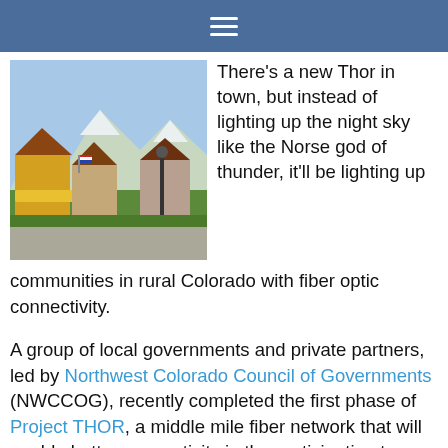≡
[Figure (photo): Outdoor street scene in a mountain resort town with alpine-style buildings, flowers, American flags, pedestrians walking along a main street, and snow-capped mountains in the background.]
There's a new Thor in town, but instead of lighting up the night sky like the Norse god of thunder, it'll be lighting up communities in rural Colorado with fiber optic connectivity.
A group of local governments and private partners, led by Northwest Colorado Council of Governments (NWCCOG), recently completed the first phase of Project THOR, a middle mile fiber network that will enable better connectivity in the participating towns, cities, and counties. The network, owned by NWCCOG, provides backhaul to local governments looking to connect public facilities, schools,